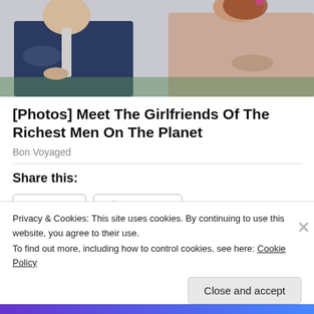[Figure (photo): Two people sitting side by side: a man in a dark blue blazer on the left and a woman with auburn hair in a lace top on the right]
[Photos] Meet The Girlfriends Of The Richest Men On The Planet
Bon Voyaged
Share this:
Twitter  Facebook
Privacy & Cookies: This site uses cookies. By continuing to use this website, you agree to their use.
To find out more, including how to control cookies, see here: Cookie Policy
Close and accept